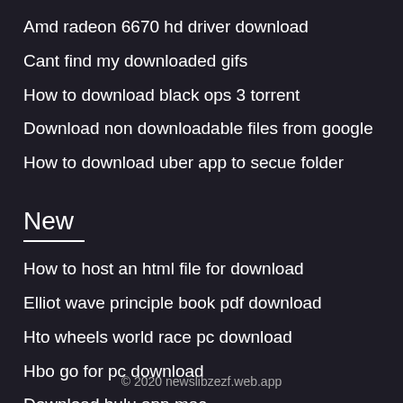Amd radeon 6670 hd driver download
Cant find my downloaded gifs
How to download black ops 3 torrent
Download non downloadable files from google
How to download uber app to secue folder
New
How to host an html file for download
Elliot wave principle book pdf download
Hto wheels world race pc download
Hbo go for pc download
Download hulu app mac
© 2020 newslibzezf.web.app